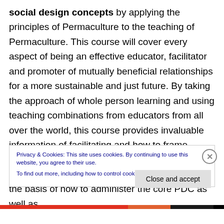social design concepts by applying the principles of Permaculture to the teaching of Permaculture. This course will cover every aspect of being an effective educator, facilitator and promoter of mutually beneficial relationships for a more sustainable and just future. By taking the approach of whole person learning and using teaching combinations from educators from all over the world, this course provides invaluable information of facilitating and how to frame concepts and ideas to people from all walks of life and cultural context. This course also offers the basis of how to administer the core PDC as well as
Privacy & Cookies: This site uses cookies. By continuing to use this website, you agree to their use. To find out more, including how to control cookies, see here: Cookie Policy
Close and accept